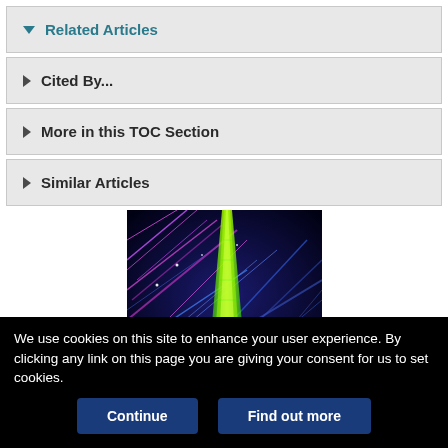▼ Related Articles
▶ Cited By...
▶ More in this TOC Section
▶ Similar Articles
[Figure (photo): Laser light show photograph showing green laser beam rising vertically with purple and blue streaking laser lights against a dark background]
We use cookies on this site to enhance your user experience. By clicking any link on this page you are giving your consent for us to set cookies.
Continue
Find out more